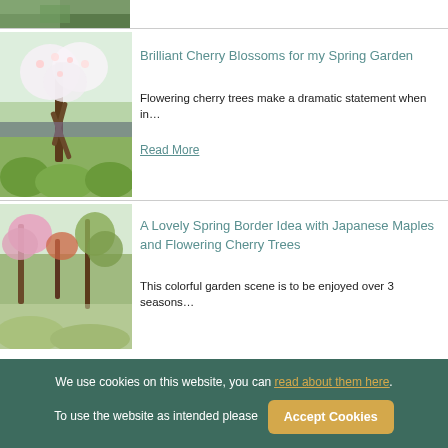[Figure (photo): Partial view of a spring garden with blue/purple flowers, cropped at top]
Garden
Brilliant Cherry Blossoms for my Spring Garden
Flowering cherry trees make a dramatic statement when in…
Read More
[Figure (photo): Flowering cherry tree with white blossoms and green garden below]
Garden
A Lovely Spring Border Idea with Japanese Maples and Flowering Cherry Trees
This colorful garden scene is to be enjoyed over 3 seasons…
[Figure (photo): Japanese maple and flowering cherry trees in spring garden]
We use cookies on this website, you can read about them here. To use the website as intended please  Accept Cookies